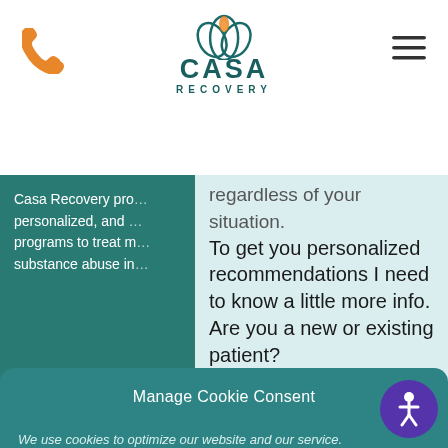[Figure (logo): Casa Recovery logo with teal emblem and orange flame, teal text reading CASA RECOVERY]
[Figure (other): Orange phone icon on left, hamburger menu icon on right]
Casa Recovery pro... personalized, and ... programs to treat n... substance abuse in...
regardless of your situation. To get you personalized recommendations I need to know a little more info. Are you a new or existing patient?
Manage Cookie Consent
We use cookies to optimize our website and our service.
Accept
Cookie Policy · Privacy Policy